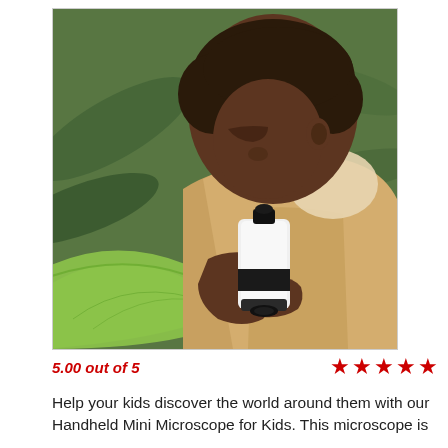[Figure (photo): A young boy with short dark hair, wearing a tan/khaki jacket, holds a small white handheld microscope up to examine a large green leaf, set against a blurred background of green foliage.]
5.00 out of 5  ★★★★★
Help your kids discover the world around them with our Handheld Mini Microscope for Kids. This microscope is